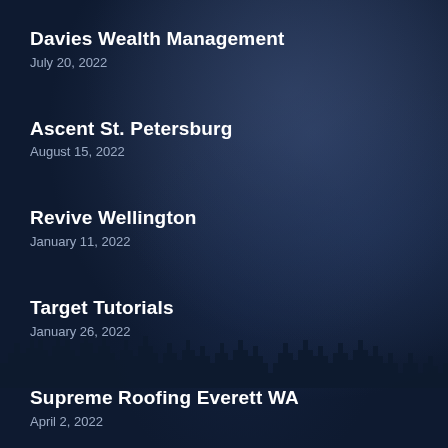Davies Wealth Management
July 20, 2022
Ascent St. Petersburg
August 15, 2022
Revive Wellington
January 11, 2022
Target Tutorials
January 26, 2022
Supreme Roofing Everett WA
April 2, 2022